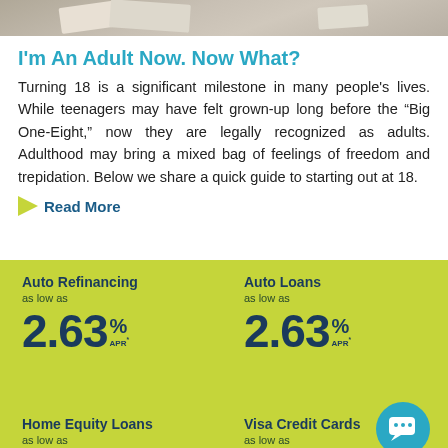[Figure (photo): Top portion of a photo showing people with books/documents, partially cropped]
I'm An Adult Now. Now What?
Turning 18 is a significant milestone in many people's lives. While teenagers may have felt grown-up long before the “Big One-Eight,” now they are legally recognized as adults. Adulthood may bring a mixed bag of feelings of freedom and trepidation. Below we share a quick guide to starting out at 18.
Read More
Auto Refinancing
as low as
2.63% APR*
Auto Loans
as low as
2.63% APR*
Home Equity Loans
as low as
Visa Credit Cards
as low as